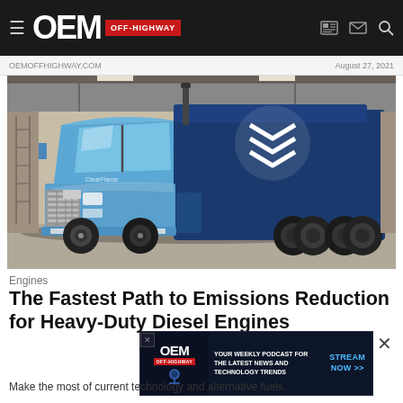OEM OFF-HIGHWAY
August 27, 2021
[Figure (photo): Blue International heavy-duty semi truck with light blue cab and dark blue sleeper featuring a chevron logo, parked inside a warehouse building]
Engines
The Fastest Path to Emissions Reduction for Heavy-Duty Diesel Engines
[Figure (other): OEM Off-Highway podcast advertisement overlay: YOUR WEEKLY PODCAST FOR THE LATEST NEWS AND TECHNOLOGY TRENDS - STREAM NOW >>]
Make the most of current technology and alternative fuels.